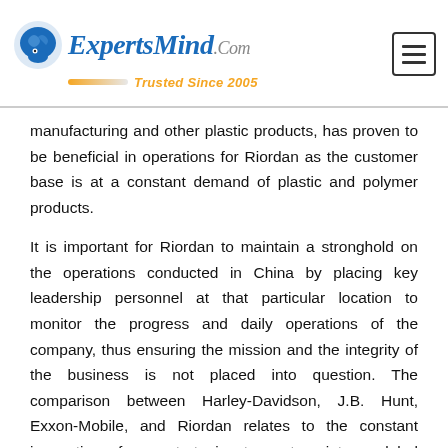ExpertsMind.Com — Trusted Since 2005
manufacturing and other plastic products, has proven to be beneficial in operations for Riordan as the customer base is at a constant demand of plastic and polymer products.
It is important for Riordan to maintain a stronghold on the operations conducted in China by placing key leadership personnel at that particular location to monitor the progress and daily operations of the company, thus ensuring the mission and the integrity of the business is not placed into question. The comparison between Harley-Davidson, J.B. Hunt, Exxon-Mobile, and Riordan relates to the constant innovation of new strategies to venture into a global market. Although all of these companies provide a different product or service, the international rules, laws, and regulationsstill apply since all companies maintain their headquarters of operation in the United States.
Global companies must ensure their ability to maintain